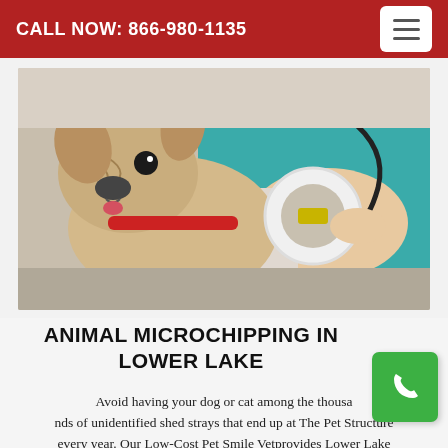CALL NOW: 866-980-1135
[Figure (photo): A veterinarian in teal scrubs holding a French Bulldog with a red collar and scanning it with a white circular microchip reader device.]
ANIMAL MICROCHIPPING IN LOWER LAKE
Avoid having your dog or cat among the thousa nds of unidentified shed strays that end up at The Pet Structure every year. Our Low-Cost Pet Smile Vetprovides Lower Lake